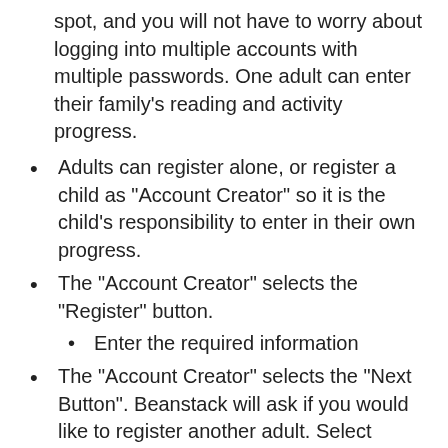spot, and you will not have to worry about logging into multiple accounts with multiple passwords. One adult can enter their family’s reading and activity progress.
Adults can register alone, or register a child as “Account Creator” so it is the child’s responsibility to enter in their own progress.
The “Account Creator” selects the “Register” button.
Enter the required information
The “Account Creator” selects the “Next Button”. Beanstack will ask if you would like to register another adult. Select “Yes/No”, then it will ask if you would like to register a child. Select “Yes/No”.